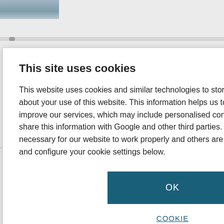[Figure (screenshot): Partial background of a webpage showing a photo thumbnail at top left, a scrollbar, and fragments of article headlines partially obscured by a cookie consent modal dialog.]
This site uses cookies
This website uses cookies and similar technologies to store and retrieve information about your use of this website. This information helps us to provide, analyse and improve our services, which may include personalised content or advertising. We may share this information with Google and other third parties. Some cookies are necessary for our website to work properly and others are optional. You can review and configure your cookie settings below.
OK
COOKIE SETTINGS